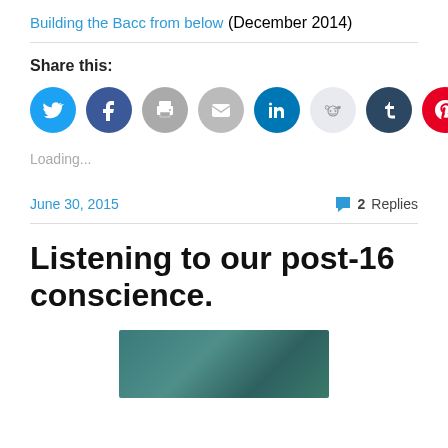Building the Bacc from below (December 2014)
Share this:
[Figure (infographic): Row of social media sharing icons: Twitter (light blue), Facebook (dark blue), Print (gray), Email (gray), LinkedIn (dark teal), Reddit (light gray), Tumblr (dark navy), Pinterest (red), Pocket (red)]
Loading...
June 30, 2015
2 Replies
Listening to our post-16 conscience.
[Figure (photo): Partial image of a dark teal/blue-green textured background, possibly a nature or abstract photo]